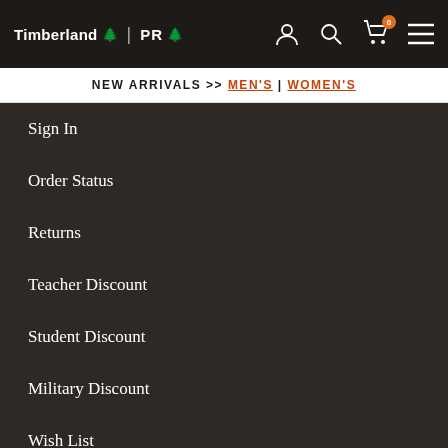Timberland PRO - Navigation Header
NEW ARRIVALS >> MEN'S | WOMEN'S
Sign In
Order Status
Returns
Teacher Discount
Student Discount
Military Discount
Wish List
ABOUT
About Us
Responsibility